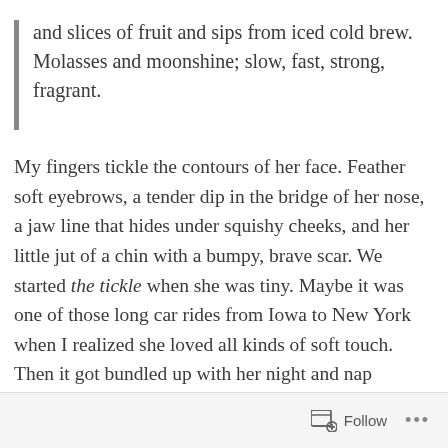and slices of fruit and sips from iced cold brew. Molasses and moonshine; slow, fast, strong, fragrant.
My fingers tickle the contours of her face. Feather soft eyebrows, a tender dip in the bridge of her nose, a jaw line that hides under squishy cheeks, and her little jut of a chin with a bumpy, brave scar. We started the tickle when she was tiny. Maybe it was one of those long car rides from Iowa to New York when I realized she loved all kinds of soft touch. Then it got bundled up with her night and nap routines and now she makes specific requests. “Tickle my hands, Mama.”
Follow ...